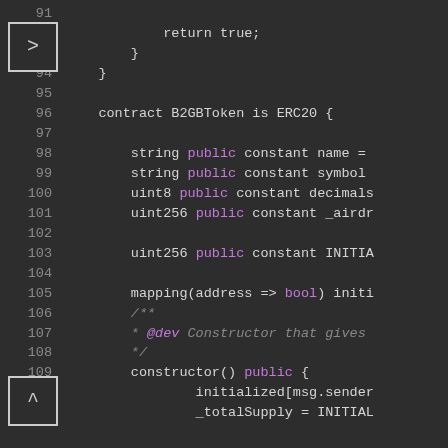[Figure (screenshot): Code editor showing Solidity smart contract code for B2GBToken. Line numbers 91-111 visible. Dark theme editor with purple keywords. Shows contract definition with string/uint public constants and constructor.]